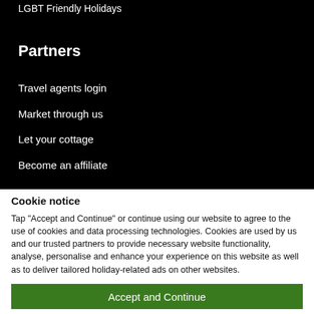LGBT Friendly Holidays
Partners
Travel agents login
Market through us
Let your cottage
Become an affiliate
Cookie notice
Tap "Accept and Continue" or continue using our website to agree to the use of cookies and data processing technologies. Cookies are used by us and our trusted partners to provide necessary website functionality, analyse, personalise and enhance your experience on this website as well as to deliver tailored holiday-related ads on other websites.
Accept and Continue